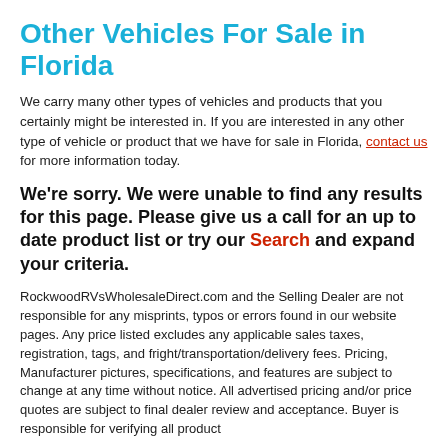Other Vehicles For Sale in Florida
We carry many other types of vehicles and products that you certainly might be interested in. If you are interested in any other type of vehicle or product that we have for sale in Florida, contact us for more information today.
We're sorry. We were unable to find any results for this page. Please give us a call for an up to date product list or try our Search and expand your criteria.
RockwoodRVsWholesaleDirect.com and the Selling Dealer are not responsible for any misprints, typos or errors found in our website pages. Any price listed excludes any applicable sales taxes, registration, tags, and fright/transportation/delivery fees. Pricing, Manufacturer pictures, specifications, and features are subject to change at any time without notice. All advertised pricing and/or price quotes are subject to final dealer review and acceptance. Buyer is responsible for verifying all product